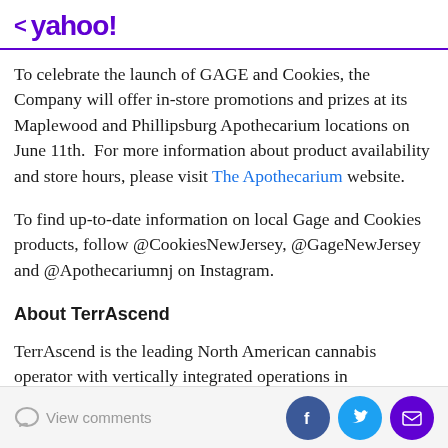< yahoo!
To celebrate the launch of GAGE and Cookies, the Company will offer in-store promotions and prizes at its Maplewood and Phillipsburg Apothecarium locations on June 11th. For more information about product availability and store hours, please visit The Apothecarium website.
To find up-to-date information on local Gage and Cookies products, follow @CookiesNewJersey, @GageNewJersey and @Apothecariumnj on Instagram.
About TerrAscend
TerrAscend is the leading North American cannabis operator with vertically integrated operations in
View comments